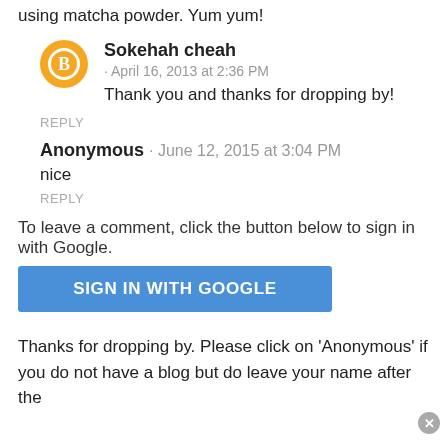using matcha powder. Yum yum!
Sokehah cheah · April 16, 2013 at 2:36 PM
Thank you and thanks for dropping by!
REPLY
Anonymous · June 12, 2015 at 3:04 PM
nice
REPLY
To leave a comment, click the button below to sign in with Google.
[Figure (other): Sign in with Google button (blue rectangle)]
Thanks for dropping by. Please click on 'Anonymous' if you do not have a blog but do leave your name after the